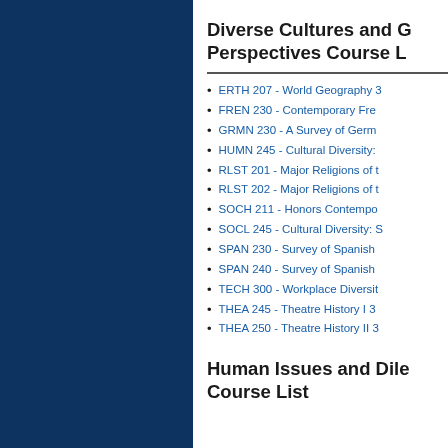Diverse Cultures and Global Perspectives Course List
ERTH 207 - World Geography 3
FREN 230 - Contemporary Fre
GRMN 230 - A Survey of Germ
HUMN 245 - Cultural Diversity:
RLST 201 - Major Religions of t
RLST 202 - Major Religions of t
SOCH 211 - Honors Contempo
SOCL 245 - Cultural Diversity: S
SPAN 230 - Survey of Spanish
SPAN 240 - Survey of Spanish
TECH 300 - Workplace Diversit
THEA 245 - Theatre History I 3
THEA 250 - Theatre History II 3
Human Issues and Dilemmas Course List